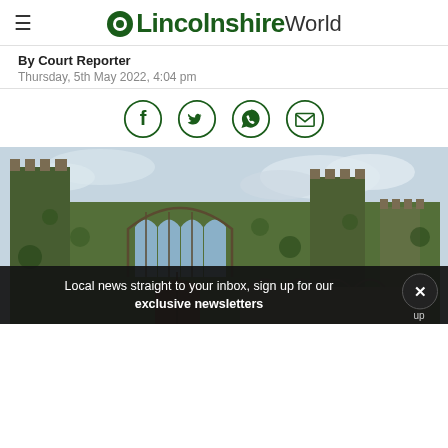LincolnshireWorld
By Court Reporter
Thursday, 5th May 2022, 4:04 pm
[Figure (other): Social sharing icons: Facebook, Twitter, WhatsApp, Email]
[Figure (photo): Photo of Lincoln Castle exterior, ivy-covered stone walls with Gothic arched windows and crenellated towers under a cloudy sky]
Local news straight to your inbox, sign up for our exclusive newsletters